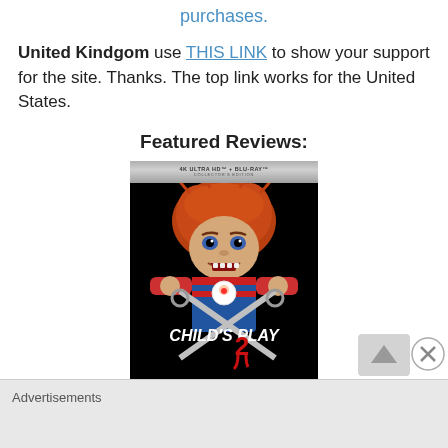purchases.
United Kindgom use THIS LINK to show your support for the site. Thanks. The top link works for the United States.
Featured Reviews:
[Figure (photo): Child's Play 2 4K Ultra HD + Blu-ray Collector's Edition movie cover showing the Chucky doll holding scissors]
[Figure (photo): Partial view of another Child's Play movie 4K Ultra HD + Blu-ray Collector's Edition cover]
Advertisements